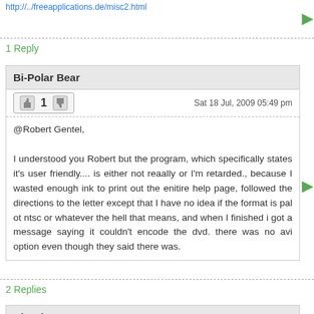http://...freeapplications.de/misc2.html
1 Reply
Bi-Polar Bear
1   Sat 18 Jul, 2009 05:49 pm
@Robert Gentel,

I understood you Robert but the program, which specifically states it's user friendly.... is either not reaally or I'm retarded., because I wasted enough ink to print out the enitire help page, followed the directions to the letter except that I have no idea if the format is pal ot ntsc or whatever the hell that means, and when I finished i got a message saying it couldn't encode the dvd. there was no avi option even though they said there was.
2 Replies
Bi-Polar Bear